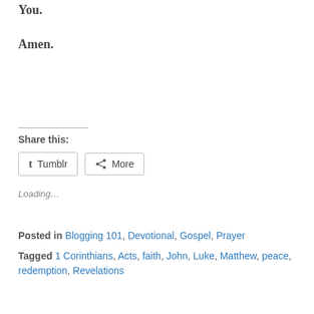You.
Amen.
Share this:
Tumblr  More
Loading...
Posted in Blogging 101, Devotional, Gospel, Prayer
Tagged 1 Corinthians, Acts, faith, John, Luke, Matthew, peace, redemption, Revelations